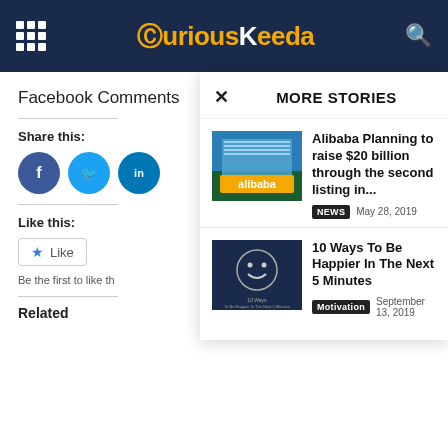CuriousKeeda
Facebook Comments
Share this:
Like this:
Be the first to like th
Related
MORE STORIES
Alibaba Planning to raise $20 billion through the second listing in...
NEWS   May 28, 2019
10 Ways To Be Happier In The Next 5 Minutes
Motivation   September 13, 2019